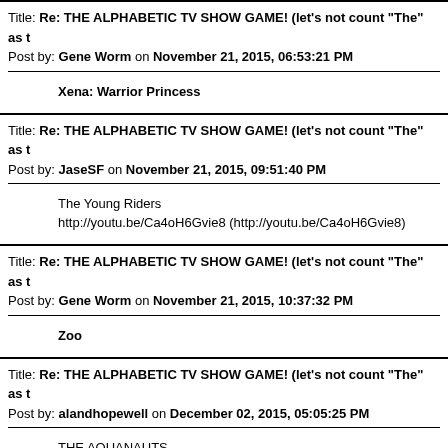Title: Re: THE ALPHABETIC TV SHOW GAME! (let's not count "The" as t
Post by: Gene Worm on November 21, 2015, 06:53:21 PM
Xena: Warrior Princess
Title: Re: THE ALPHABETIC TV SHOW GAME! (let's not count "The" as t
Post by: JaseSF on November 21, 2015, 09:51:40 PM
The Young Riders

http://youtu.be/Ca4oH6Gvie8 (http://youtu.be/Ca4oH6Gvie8)
Title: Re: THE ALPHABETIC TV SHOW GAME! (let's not count "The" as t
Post by: Gene Worm on November 21, 2015, 10:37:32 PM
Zoo
Title: Re: THE ALPHABETIC TV SHOW GAME! (let's not count "The" as t
Post by: alandhopewell on December 02, 2015, 05:05:25 PM
THE AQUANAUTS

! No longer available (http://www.youtube.com/watch?v=xMSnNuJCqk
Title: Re: THE ALPHABETIC TV SHOW GAME! (let's not count "The" as t